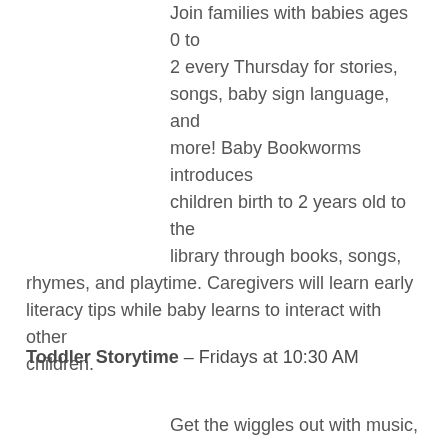Join families with babies ages 0 to 2 every Thursday for stories, songs, baby sign language, and more! Baby Bookworms introduces children birth to 2 years old to the library through books, songs, rhymes, and playtime. Caregivers will learn early literacy tips while baby learns to interact with other children.
Toddler Storytime – Fridays at 10:30 AM
Get the wiggles out with music,